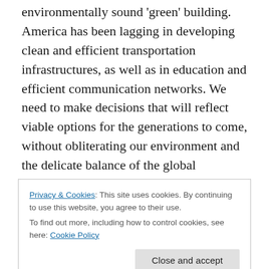environmentally sound 'green' building. America has been lagging in developing clean and efficient transportation infrastructures, as well as in education and efficient communication networks. We need to make decisions that will reflect viable options for the generations to come, without obliterating our environment and the delicate balance of the global ecosystem and economic interdependency. In our quest to achieve international standards in education, we have inadvertently started to impinge on creative teaching methods and the hands-on approach in our classrooms. Yet because Americans are
Privacy & Cookies: This site uses cookies. By continuing to use this website, you agree to their use.
To find out more, including how to control cookies, see here: Cookie Policy
Close and accept
…its due requisite for both the U.S. Current…